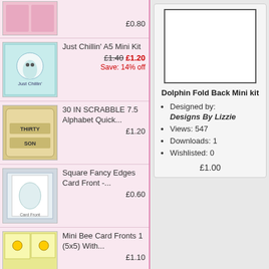£0.80
Just Chillin' A5 Mini Kit — £1.40 £1.20 Save: 14% off
30 IN SCRABBLE 7.5 Alphabet Quick... — £1.20
Square Fancy Edges Card Front -... — £0.60
Mini Bee Card Fronts 1 (5x5) With... — £1.10
Square Envelope CU Templates — £2.50
Dolphin Fold Back Mini kit
Designed by: Designs By Lizzie
Views: 547
Downloads: 1
Wishlisted: 0
£1.00